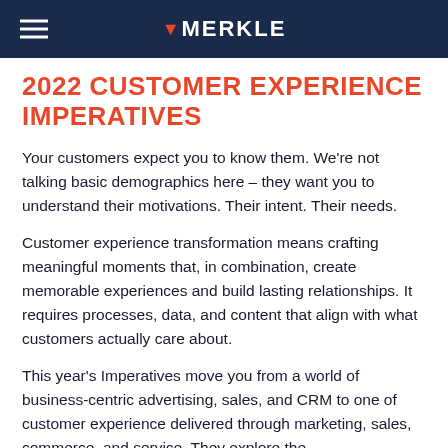MERKLE
2022 CUSTOMER EXPERIENCE IMPERATIVES
Your customers expect you to know them. We're not talking basic demographics here – they want you to understand their motivations. Their intent. Their needs.
Customer experience transformation means crafting meaningful moments that, in combination, create memorable experiences and build lasting relationships. It requires processes, data, and content that align with what customers actually care about.
This year's Imperatives move you from a world of business-centric advertising, sales, and CRM to one of customer experience delivered through marketing, sales, commerce, and service. They explore the